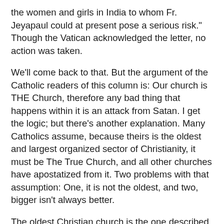the women and girls in India to whom Fr. Jeyapaul could at present pose a serious risk." Though the Vatican acknowledged the letter, no action was taken.
We'll come back to that. But the argument of the Catholic readers of this column is: Our church is THE Church, therefore any bad thing that happens within it is an attack from Satan. I get the logic; but there’s another explanation. Many Catholics assume, because theirs is the oldest and largest organized sector of Christianity, it must be The True Church, and all other churches have apostatized from it. Two problems with that assumption: One, it is not the oldest, and two, bigger isn’t always better.
The oldest Christian church is the one described in the Bible. The Bible was completed by the end of the first century. The Catholic Church wasn't formed until the fourth century, and the Catholic Church did not write the Bible. (Sorry, Teresa, Dan Brown got it wrong.) The Church held a